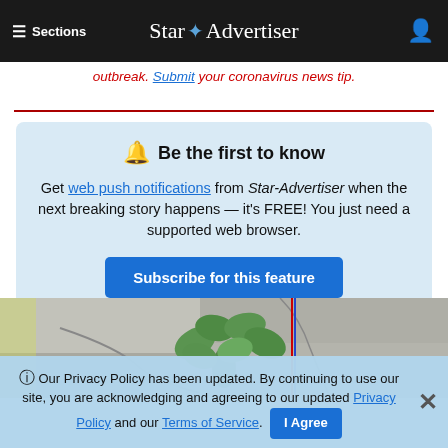≡ Sections  Star Advertiser
outbreak. Submit your coronavirus news tip.
🔔 Be the first to know
Get web push notifications from Star-Advertiser when the next breaking story happens — it's FREE! You just need a supported web browser.
[Subscribe for this feature]
[Figure (photo): Photo of a green plant growing through cracked concrete or stone pavement, with a red/blue vertical line overlay in the center.]
ℹ Our Privacy Policy has been updated. By continuing to use our site, you are acknowledging and agreeing to our updated Privacy Policy and our Terms of Service. [I Agree]